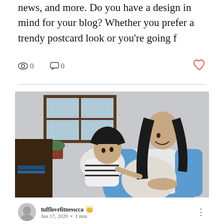news, and more. Do you have a design in mind for your blog? Whether you prefer a trendy postcard look or you're going f
0 views · 0 comments · like
[Figure (photo): A pregnant woman smiling down at a young girl who is looking up at her and touching her pregnant belly. Indoor home setting.]
tufflovefitnesscca · Jun 17, 2020 · 1 min